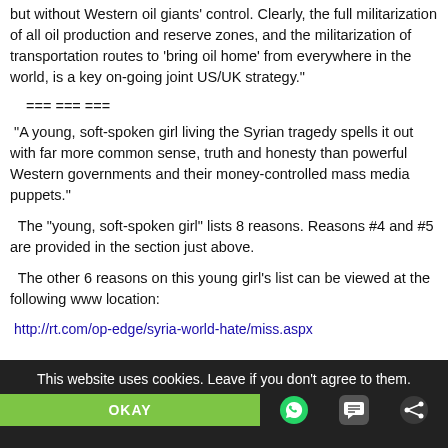but without Western oil giants' control. Clearly, the full militarization of all oil production and reserve zones, and the militarization of transportation routes to 'bring oil home' from everywhere in the world, is a key on-going joint US/UK strategy."
=== === ===
"A young, soft-spoken girl living the Syrian tragedy spells it out with far more common sense, truth and honesty than powerful Western governments and their money-controlled mass media puppets."
The "young, soft-spoken girl" lists 8 reasons. Reasons #4 and #5 are provided in the section just above.
The other 6 reasons on this young girl's list can be viewed at the following www location:
http://rt.com/op-edge/syria-world-hate/miss.aspx
This website uses cookies. Leave if you don't agree to them.
OKAY